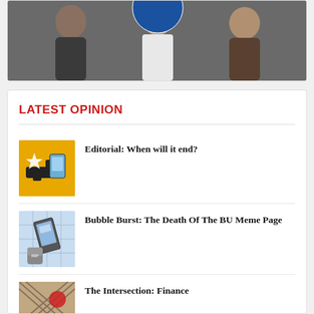[Figure (photo): Advertisement banner for American University of the Caribbean School of Medicine with text 'CLICK FOR MORE DETAILS' and copyright notice '© 2022 American University of the Caribbean School of Medicine. All rights reserved.']
LATEST OPINION
[Figure (illustration): Yellow background illustration with gun/phone graphic for editorial article]
Editorial: When will it end?
[Figure (illustration): Light blue grid background illustration with phone and RIP tombstone for BU Meme Page article]
Bubble Burst: The Death Of The BU Meme Page
[Figure (illustration): Crosshatch pattern illustration for The Intersection: Finance article]
The Intersection: Finance